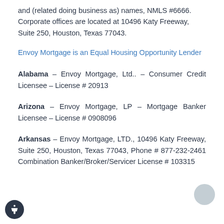and (related doing business as) names, NMLS #6666. Corporate offices are located at 10496 Katy Freeway, Suite 250, Houston, Texas 77043.
Envoy Mortgage is an Equal Housing Opportunity Lender
Alabama – Envoy Mortgage, Ltd.. – Consumer Credit Licensee – License # 20913
Arizona – Envoy Mortgage, LP – Mortgage Banker Licensee – License # 0908096
Arkansas – Envoy Mortgage, LTD., 10496 Katy Freeway, Suite 250, Houston, Texas 77043, Phone # 877-232-2461 Combination Banker/Broker/Servicer License # 103315